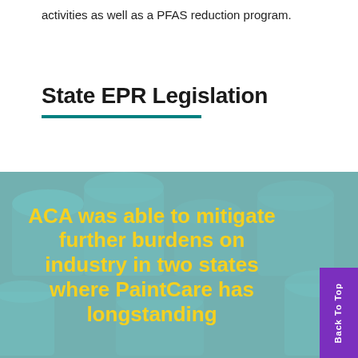activities as well as a PFAS reduction program.
State EPR Legislation
[Figure (photo): Background photo of paint cans with teal color overlay. Large yellow bold text reads: ACA was able to mitigate further burdens on industry in two states where PaintCare has longstanding]
Back To Top